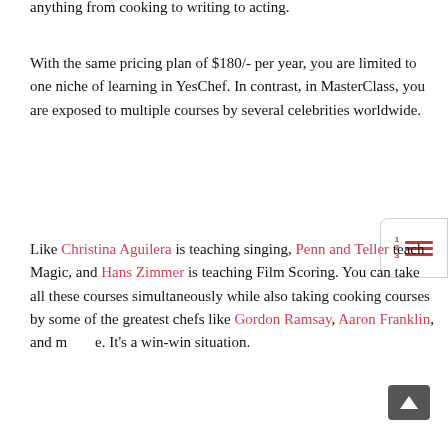anything from cooking to writing to acting.
With the same pricing plan of $180/- per year, you are limited to one niche of learning in YesChef. In contrast, in MasterClass, you are exposed to multiple courses by several celebrities worldwide.
Like Christina Aguilera is teaching singing, Penn and Teller teach Magic, and Hans Zimmer is teaching Film Scoring. You can take all these courses simultaneously while also taking cooking courses by some of the greatest chefs like Gordon Ramsay, Aaron Franklin, and more. It's a win-win situation.